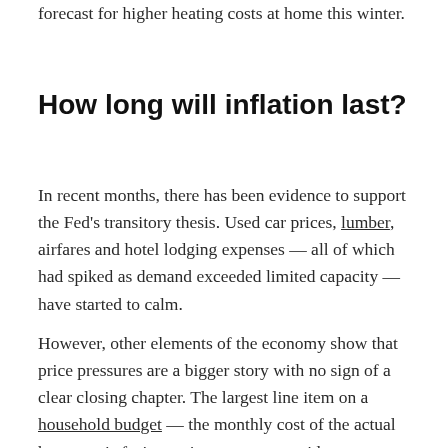forecast for higher heating costs at home this winter.
How long will inflation last?
In recent months, there has been evidence to support the Fed's transitory thesis. Used car prices, lumber, airfares and hotel lodging expenses — all of which had spiked as demand exceeded limited capacity — have started to calm.
However, other elements of the economy show that price pressures are a bigger story with no sign of a clear closing chapter. The largest line item on a household budget — the monthly cost of the actual house — is facing serious pressure amid